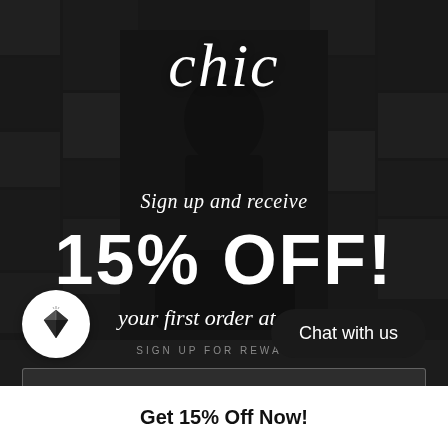[Figure (photo): Dark fashion photo collage background with a person sitting in a chair surrounded by fashion images, with dark overlay]
chic
Sign up and receive
15% OFF!
your first order at Chic!
SIGN UP FOR REWARDS
ail address
Chat with us
Get 15% Off Now!